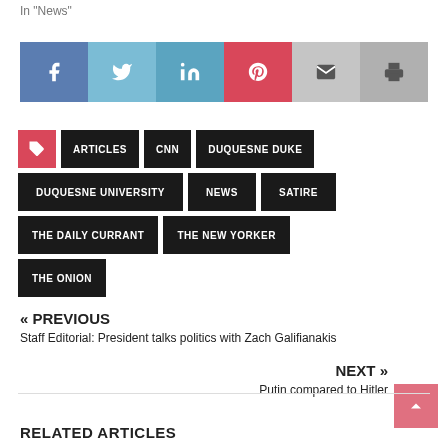In "News"
[Figure (infographic): Social sharing buttons: Facebook, Twitter, LinkedIn, Pinterest, Email, Print]
ARTICLES
CNN
DUQUESNE DUKE
DUQUESNE UNIVERSITY
NEWS
SATIRE
THE DAILY CURRANT
THE NEW YORKER
THE ONION
« PREVIOUS
Staff Editorial: President talks politics with Zach Galifianakis
NEXT »
Putin compared to Hitler
RELATED ARTICLES